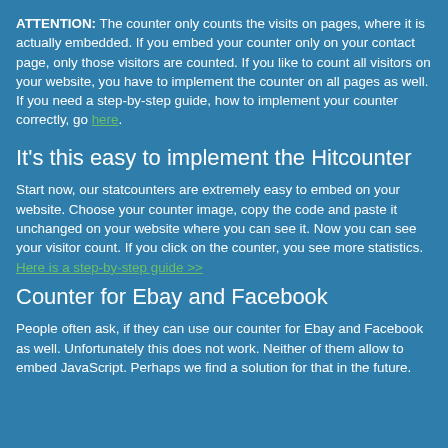ATTENTION: The counter only counts the visits on pages, where it is actually embedded. If you embed your counter only on your contact page, only those visitors are counted. If you like to count all visitors on your website, you have to implement the counter on all pages as well.
If you need a step-by-step guide, how to implement your counter correctly, go here.
It's this easy to implement the Hitcounter
Start now, our statcounters are extremely easy to embed on your website. Choose your counter image, copy the code and paste it unchanged on your website where you can see it. Now you can see your visitor count. If you click on the counter, you see more statistics. Here is a step-by-step guide >>
Counter for Ebay and Facebook
People often ask, if they can use our counter for Ebay and Facebook as well. Unfortunately this does not work. Neither of them allow to embed JavaScript. Perhaps we find a solution for that in the future.